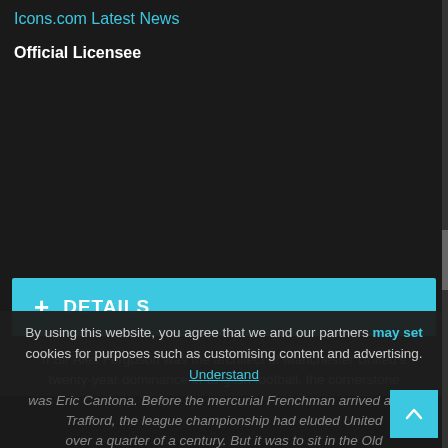Icons.com Latest News
Official Licensee
[Figure (other): Empty dark image placeholder area]
+ DETAILS
If Sir Alex Ferguson was the architect of Manchester United's twenty-year dominance of English football, the cornerstone was Eric Cantona. Before the mercurial Frenchman arrived at Old Trafford, the league championship had eluded Unite... over a quarter of a century. But it was to sit in the Old Trafford trophy cabinet for of five seasons after the arrival of 'The King'. In fact such was Cantona's impact on the Red...
By using this website, you agree that we and our partners may set cookies for purposes such as customising content and advertising. Understand